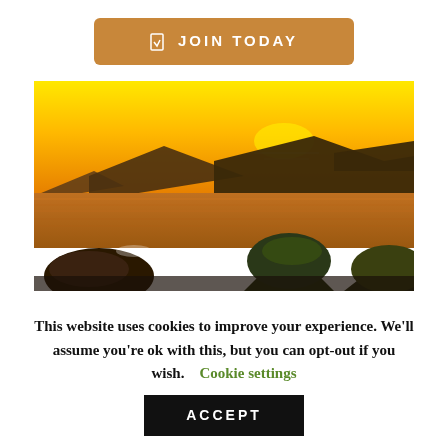[Figure (other): Orange/gold button with bookmark icon and text 'JOIN TODAY']
[Figure (photo): Scenic coastal sunset photo showing orange sky, mountains in silhouette, calm water, and rocky foreground with moss-covered rocks]
This website uses cookies to improve your experience. We'll assume you're ok with this, but you can opt-out if you wish.   Cookie settings
[Figure (other): Black ACCEPT button]